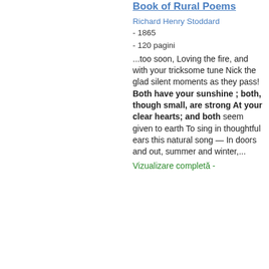Book of Rural Poems
Richard Henry Stoddard - 1865
- 120 pagini
...too soon, Loving the fire, and with your tricksome tune Nick the glad silent moments as they pass! Both have your sunshine ; both, though small, are strong At your clear hearts; and both seem given to earth To sing in thoughtful ears this natural song — In doors and out, summer and winter,...
Vizualizare completă -